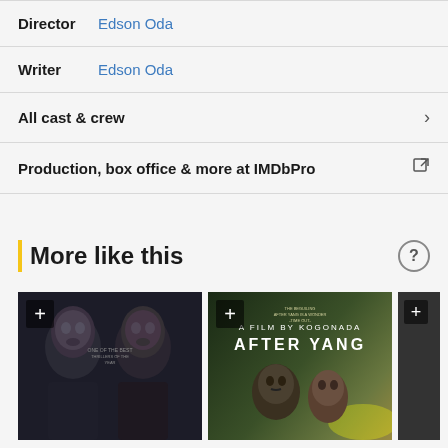Director  Edson Oda
Writer  Edson Oda
All cast & crew
Production, box office & more at IMDbPro
More like this
[Figure (photo): Movie poster thumbnails in a horizontal scroll row: first shows two dark faces side by side, second shows 'After Yang' poster with two men, third is partially visible dark card.]